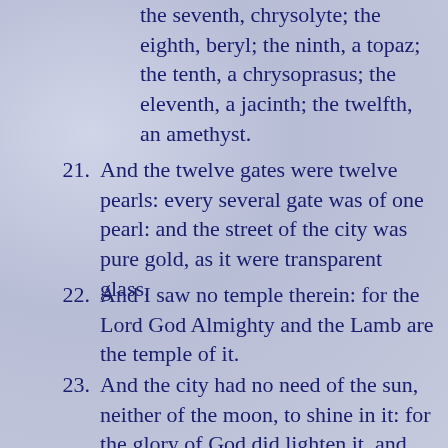the seventh, chrysolyte; the eighth, beryl; the ninth, a topaz; the tenth, a chrysoprasus; the eleventh, a jacinth; the twelfth, an amethyst.
21. And the twelve gates were twelve pearls: every several gate was of one pearl: and the street of the city was pure gold, as it were transparent glass.
22. And I saw no temple therein: for the Lord God Almighty and the Lamb are the temple of it.
23. And the city had no need of the sun, neither of the moon, to shine in it: for the glory of God did lighten it, and the Lamb is the light thereof.